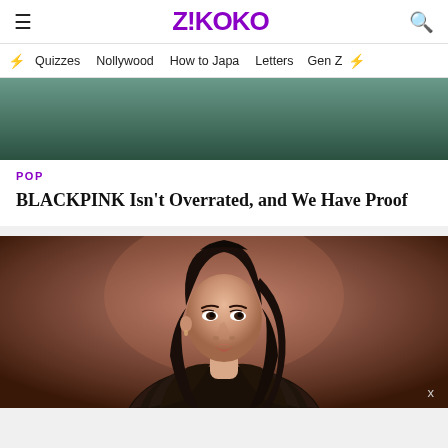Z!KOKO
Quizzes · Nollywood · How to Japa · Letters · Gen Z
[Figure (photo): Top portion of an article card showing a teal/green background image, partially cropped]
POP
BLACKPINK Isn't Overrated, and We Have Proof
[Figure (photo): Portrait photo of a young Asian woman with long dark wavy hair, wearing a dark feathered/leafy outfit, against a warm brown background. An 'x' close button appears in the lower right corner.]